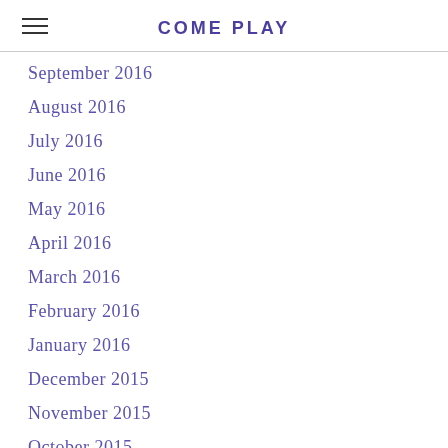COME PLAY
September 2016
August 2016
July 2016
June 2016
May 2016
April 2016
March 2016
February 2016
January 2016
December 2015
November 2015
October 2015
September 2015
August 2015
July 2015
June 2015
May 2015
April 2015